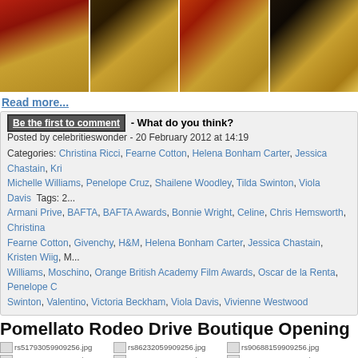[Figure (photo): Four photos of celebrities at BAFTA in gold dresses on red carpet]
Read more...
Be the first to comment - What do you think?
Posted by celebritieswonder - 20 February 2012 at 14:19
Categories: Christina Ricci, Fearne Cotton, Helena Bonham Carter, Jessica Chastain, Kri... Michelle Williams, Penelope Cruz, Shailene Woodley, Tilda Swinton, Viola Davis  Tags: 2... Armani Prive, BAFTA, BAFTA Awards, Bonnie Wright, Celine, Chris Hemsworth, Christina... Fearne Cotton, Givenchy, H&M, Helena Bonham Carter, Jessica Chastain, Kristen Wiig, M... Williams, Moschino, Orange British Academy Film Awards, Oscar de la Renta, Penelope C... Swinton, Valentino, Victoria Beckham, Viola Davis, Vivienne Westwood
Pomellato Rodeo Drive Boutique Opening
[Figure (photo): 9 thumbnail images from Pomellato Rodeo Drive Boutique Opening event]
Pomellato, Kathleen Robertson, Tilda Swinton, Jessica Lowndes (in David Meister... D'Abo at Pomellato Rodeo Drive Boutique Opening
Be the first to comment - What do you think?